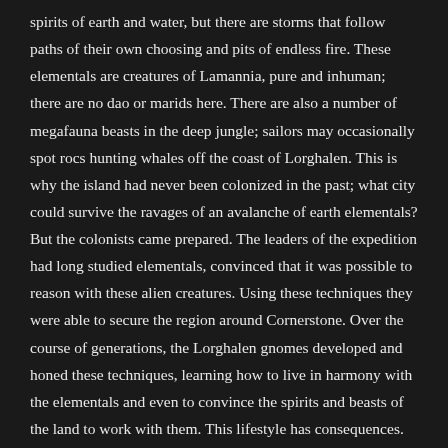spirits of earth and water, but there are storms that follow paths of their own choosing and pits of endless fire. These elementals are creatures of Lamannia, pure and inhuman; there are no dao or marids here. There are also a number of megafauna beasts in the deep jungle; sailors may occasionally spot rocs hunting whales off the coast of Lorghalen. This is why the island had never been colonized in the past; what city could survive the ravages of an avalanche of earth elementals? But the colonists came prepared. The leaders of the expedition had long studied elementals, convinced that it was possible to reason with these alien creatures. Using these techniques they were able to secure the region around Cornerstone. Over the course of generations, the Lorghalen gnomes developed and honed these techniques, learning how to live in harmony with the elementals and even to convince the spirits and beasts of the land to work with them. This lifestyle has consequences. Cornerstone is the only large city on the island; other gnomes live in family estates along the coast, or on the edge of the jungle. But the deep jungles of Lorghalen are left to the primal forces. The